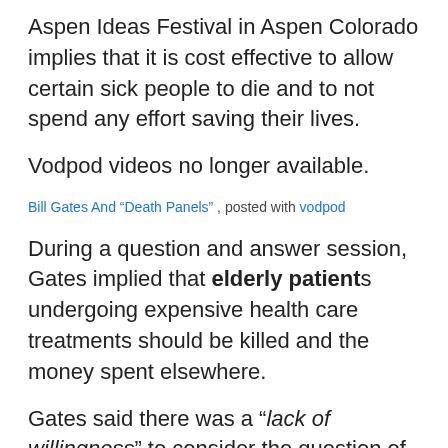Aspen Ideas Festival in Aspen Colorado implies that it is cost effective to allow certain sick people to die and to not spend any effort saving their lives.
Vodpod videos no longer available.
Bill Gates And “Death Panels” , posted with vodpod
During a question and answer session, Gates implied that elderly patients undergoing expensive health care treatments should be killed and the money spent elsewhere.
Gates said there was a “lack of willingness” to consider the question of choosing between “spending a million dollars on that last three months of life for that patient” or laying off ten teachers.
“But that’s called the death panel and you’re not supposed